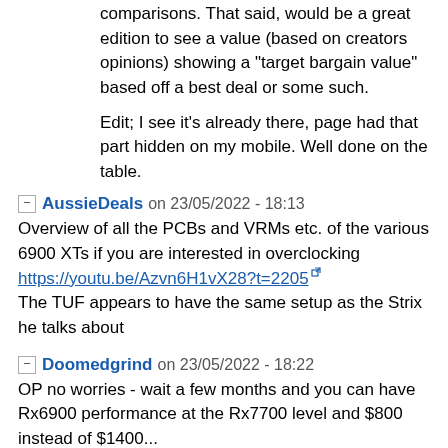comparisons. That said, would be a great edition to see a value (based on creators opinions) showing a "target bargain value" based off a best deal or some such.

Edit; I see it's already there, page had that part hidden on my mobile. Well done on the table.
AussieDeals on 23/05/2022 - 18:13
Overview of all the PCBs and VRMs etc. of the various 6900 XTs if you are interested in overclocking
https://youtu.be/Azvn6H1vX28?t=2205
The TUF appears to have the same setup as the Strix he talks about
Doomedgrind on 23/05/2022 - 18:22
OP no worries - wait a few months and you can have Rx6900 performance at the Rx7700 level and $800 instead of $1400...
botchie on 23/05/2022 - 18:30  +4
Yeah sure 😊